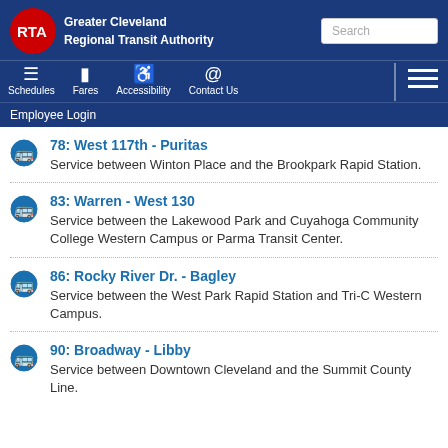Greater Cleveland Regional Transit Authority
78: West 117th - Puritas
Service between Winton Place and the Brookpark Rapid Station.
83: Warren - West 130
Service between the Lakewood Park and Cuyahoga Community College Western Campus or Parma Transit Center.
86: Rocky River Dr. - Bagley
Service between the West Park Rapid Station and Tri-C Western Campus.
90: Broadway - Libby
Service between Downtown Cleveland and the Summit County Line.